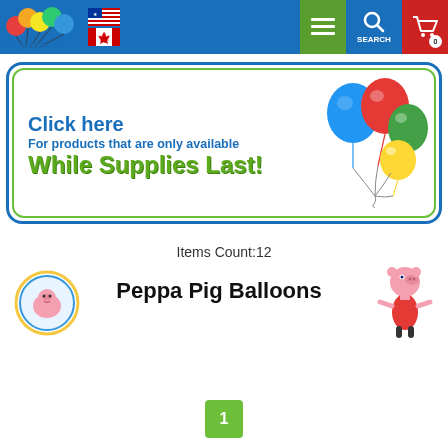BargainBalloons navigation bar with logo, US and Canada flags, menu, search, and cart
[Figure (screenshot): Promotional banner: 'Click here For products that are only available While Supplies Last!' with colorful balloons on right]
Items Count:12
[Figure (illustration): Peppa Pig circular badge icon on left]
Peppa Pig Balloons
[Figure (illustration): Peppa Pig character standing on right]
1